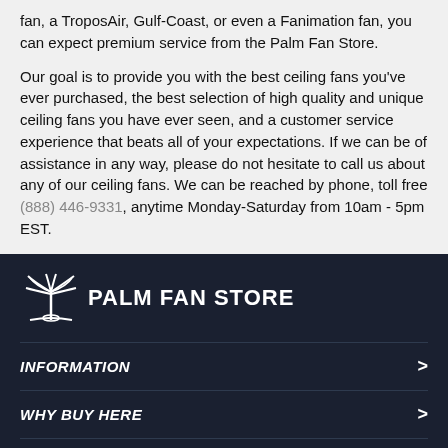fan, a TroposAir, Gulf-Coast, or even a Fanimation fan, you can expect premium service from the Palm Fan Store.
Our goal is to provide you with the best ceiling fans you've ever purchased, the best selection of high quality and unique ceiling fans you have ever seen, and a customer service experience that beats all of your expectations. If we can be of assistance in any way, please do not hesitate to call us about any of our ceiling fans. We can be reached by phone, toll free (888) 446-9331, anytime Monday-Saturday from 10am - 5pm EST.
[Figure (logo): Palm Fan Store logo with palm tree icon and text PALM FAN STORE]
INFORMATION
WHY BUY HERE
Support